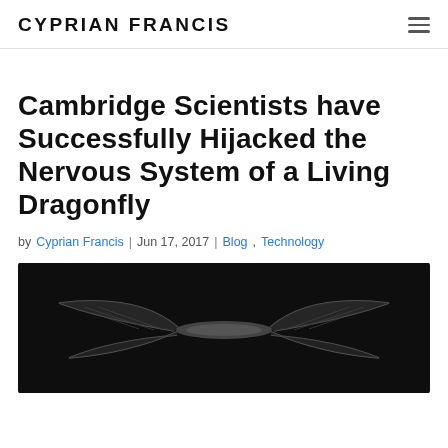CYPRIAN FRANCIS
Cambridge Scientists have Successfully Hijacked the Nervous System of a Living Dragonfly
by Cyprian Francis | Jun 17, 2017 | Blog, Technology
[Figure (photo): Dark background photo showing what appears to be a dragonfly or drone with translucent wings against a black background]